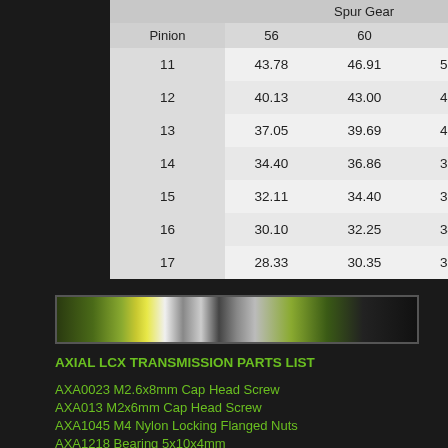| Pinion | 56 | 60 | 64 |
| --- | --- | --- | --- |
| 11 | 43.78 | 46.91 | 50.04 |
| 12 | 40.13 | 43.00 | 45.87 |
| 13 | 37.05 | 39.69 | 42.34 |
| 14 | 34.40 | 36.86 | 39.31 |
| 15 | 32.11 | 34.40 | 36.69 |
| 16 | 30.10 | 32.25 | 34.40 |
| 17 | 28.33 | 30.35 | 32.38 |
[Figure (photo): Horizontal image strip showing RC car transmission components]
AXIAL LCX TRANSMISSION PARTS LIST
AXA0023 M2.6x8mm Cap Head Screw
AXA013 M2x6mm Cap Head Screw
AXA1045 M4 Nylon Locking Flanged Nuts
AXA1218 Bearing 5x10x4mm